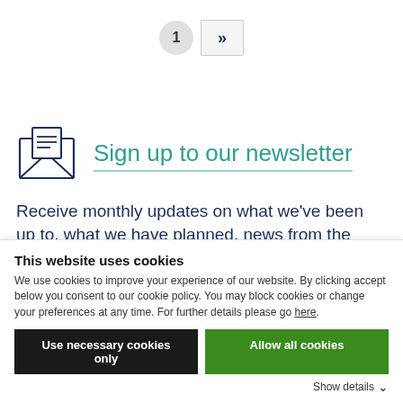1 >>
[Figure (illustration): Envelope icon with lines representing a letter/newsletter]
Sign up to our newsletter
Receive monthly updates on what we've been up to, what we have planned, news from the sector and access to free and helpful resources
This website uses cookies
We use cookies to improve your experience of our website. By clicking accept below you consent to our cookie policy. You may block cookies or change your preferences at any time. For further details please go here.
Use necessary cookies only | Allow all cookies
Show details